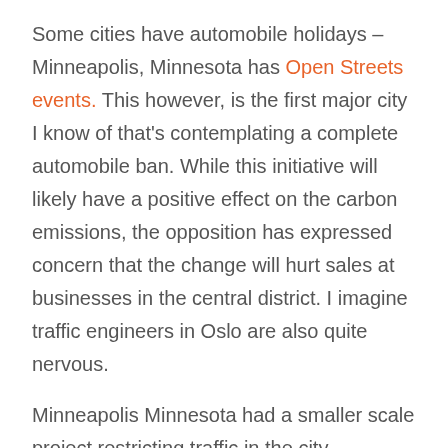Some cities have automobile holidays – Minneapolis, Minnesota has Open Streets events. This however, is the first major city I know of that's contemplating a complete automobile ban. While this initiative will likely have a positive effect on the carbon emissions, the opposition has expressed concern that the change will hurt sales at businesses in the central district. I imagine traffic engineers in Oslo are also quite nervous.
Minneapolis Minnesota had a smaller scale project restricting traffic in the city. Hennepin Avenue and First Avenue in Minneapolis were